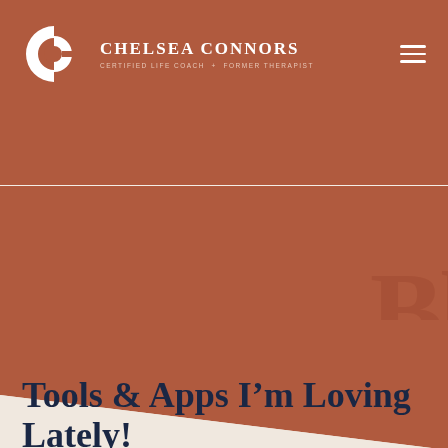CHELSEA CONNORS — CERTIFIED LIFE COACH + FORMER THERAPIST
[Figure (illustration): Large terracotta/brown diagonal background section with a faint 'BL' watermark on the right side, transitioning to a cream/off-white background below via a diagonal cut.]
Tools & Apps I'm Loving Lately!